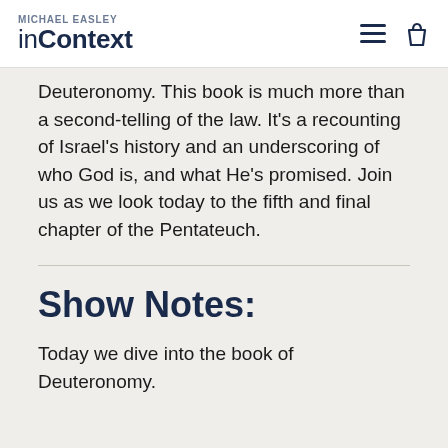MICHAEL EASLEY inContext
Deuteronomy. This book is much more than a second-telling of the law. It's a recounting of Israel's history and an underscoring of who God is, and what He's promised. Join us as we look today to the fifth and final chapter of the Pentateuch.
Show Notes:
Today we dive into the book of Deuteronomy.